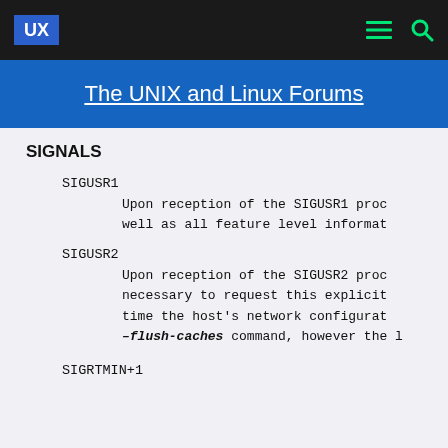UX | The UNIX and Linux Forums
The UNIX and Linux Forums
SIGNALS
SIGUSR1
        Upon reception of the SIGUSR1 proc
        well as all feature level informat
SIGUSR2
        Upon reception of the SIGUSR2 proc
        necessary to request this explicit
        time the host's network configurat
        –flush-caches command, however the l
SIGRTMIN+1